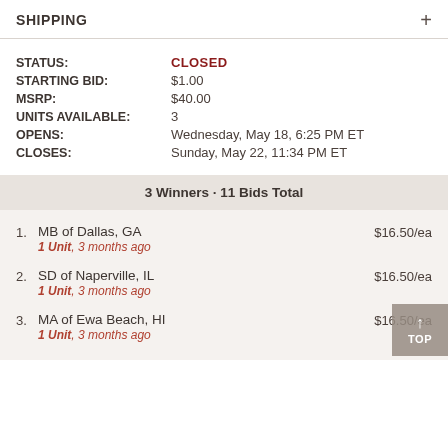SHIPPING +
| Field | Value |
| --- | --- |
| STATUS: | CLOSED |
| STARTING BID: | $1.00 |
| MSRP: | $40.00 |
| UNITS AVAILABLE: | 3 |
| OPENS: | Wednesday, May 18, 6:25 PM ET |
| CLOSES: | Sunday, May 22, 11:34 PM ET |
3 Winners · 11 Bids Total
1. MB of Dallas, GA — 1 Unit, 3 months ago — $16.50/ea
2. SD of Naperville, IL — 1 Unit, 3 months ago — $16.50/ea
3. MA of Ewa Beach, HI — 1 Unit, 3 months ago — $16.50/ea